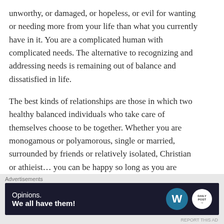unworthy, or damaged, or hopeless, or evil for wanting or needing more from your life than what you currently have in it. You are a complicated human with complicated needs. The alternative to recognizing and addressing needs is remaining out of balance and dissatisfied in life.
The best kinds of relationships are those in which two healthy balanced individuals who take care of themselves choose to be together. Whether you are monogamous or polyamorous, single or married, surrounded by friends or relatively isolated, Christian or athieist… you can be happy so long as you are taking care of you. And if these two healthy people
Advertisements
[Figure (other): Advertisement banner with dark navy background showing 'Opinions. We all have them!' text with WordPress logo and Daily Post logo on the right.]